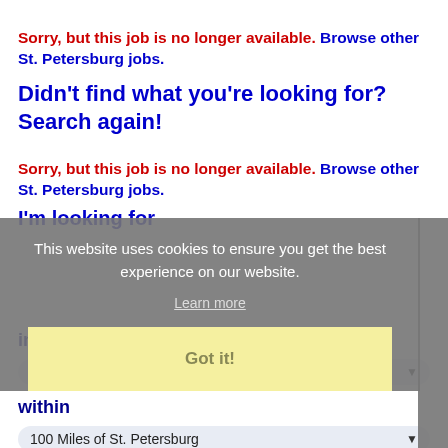Sorry, but this job is no longer available. Browse other St. Petersburg jobs.
Didn't find what you're looking for? Search again!
Sorry, but this job is no longer available. Browse other St. Petersburg jobs.
I'm looking for
[Figure (screenshot): Cookie consent popup overlay with text: 'This website uses cookies to ensure you get the best experience on our website.' with 'Learn more' link and 'Got it!' yellow button]
in category
ALL
within
100 Miles of St. Petersburg